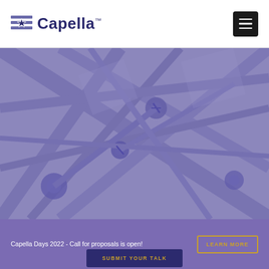[Figure (logo): Capella logo with stylized compass/star icon and wordmark 'Capella' with TM mark]
[Figure (photo): Purple-tinted overhead photo of structural engineering framework/truss connections, with a semi-transparent purple overlay]
Capella Days 2022 - Call for proposals is open!
LEARN MORE
SUBMIT YOUR TALK